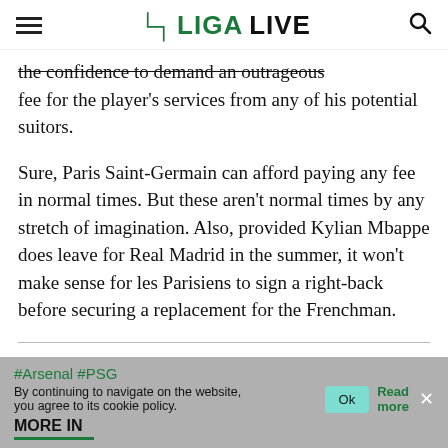LIGA LIVE
the confidence to demand an outrageous fee for the player's services from any of his potential suitors.
Sure, Paris Saint-Germain can afford paying any fee in normal times. But these aren't normal times by any stretch of imagination. Also, provided Kylian Mbappe does leave for Real Madrid in the summer, it won't make sense for les Parisiens to sign a right-back before securing a replacement for the Frenchman.
#Arsenal #PSG
By continuing to navigate on the website, you agree to its cookie policy.
Ok | Read more
MORE IN